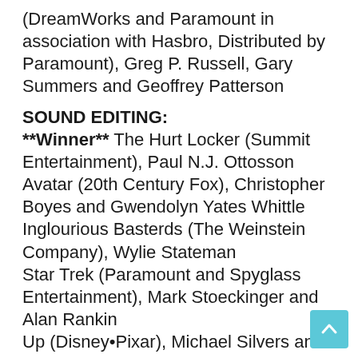(DreamWorks and Paramount in association with Hasbro, Distributed by Paramount), Greg P. Russell, Gary Summers and Geoffrey Patterson
SOUND EDITING:
**Winner** The Hurt Locker (Summit Entertainment), Paul N.J. Ottosson Avatar (20th Century Fox), Christopher Boyes and Gwendolyn Yates Whittle Inglourious Basterds (The Weinstein Company), Wylie Stateman Star Trek (Paramount and Spyglass Entertainment), Mark Stoeckinger and Alan Rankin Up (Disney•Pixar), Michael Silvers and Tom Myers